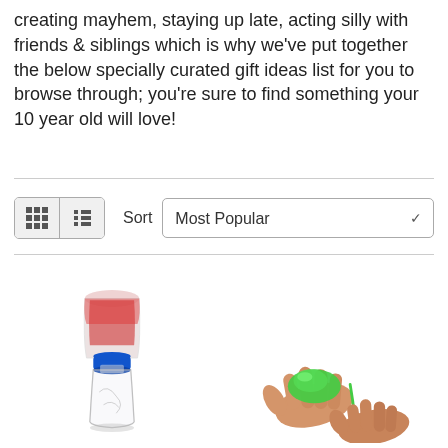creating mayhem, staying up late, acting silly with friends & siblings which is why we've put together the below specially curated gift ideas list for you to browse through; you're sure to find something your 10 year old will love!
[Figure (screenshot): Toolbar with grid/list view toggle buttons on the left, and a Sort label with a 'Most Popular' dropdown select on the right.]
[Figure (photo): A red-and-clear plastic bottle tornado connector with a blue ring, connecting two bottles together (top bottle inverted).]
[Figure (photo): Two hands holding a small green slime toy, with a thin strand of slime dripping between them.]